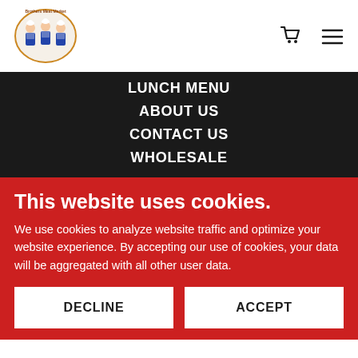[Figure (logo): Brothers Meat Market logo with three figures in blue aprons and chef hats, text around circular border]
Shopping cart icon and hamburger menu icon
LUNCH MENU
ABOUT US
CONTACT US
WHOLESALE
This website uses cookies.
We use cookies to analyze website traffic and optimize your website experience. By accepting our use of cookies, your data will be aggregated with all other user data.
DECLINE
ACCEPT